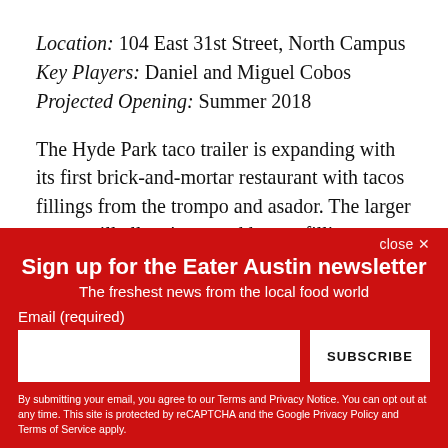Location: 104 East 31st Street, North Campus
Key Players: Daniel and Miguel Cobos
Projected Opening: Summer 2018
The Hyde Park taco trailer is expanding with its first brick-and-mortar restaurant with tacos fillings from the trompo and asador. The larger space will allow 'em to add more filling varieties, like carnitas, as well as a proper bar.
close ✕
Sign up for the Eater Austin newsletter
The freshest news from the local food world
Email (required)
SUBSCRIBE
By submitting your email, you agree to our Terms and Privacy Notice. You can opt out at any time. This site is protected by reCAPTCHA and the Google Privacy Policy and Terms of Service apply.